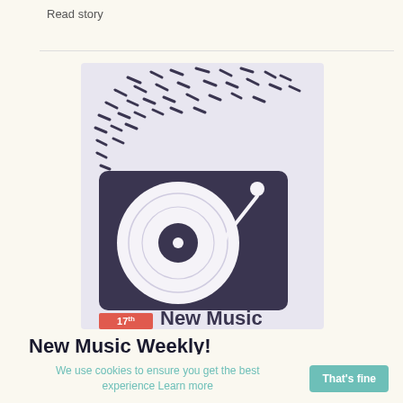Read story
[Figure (illustration): New Music Weekly promotional image with a turntable/record player illustration on a light purple background with confetti-like dashes above it. Shows date badge '17th APR' in red/coral and text 'New Music Weekly' in dark purple.]
New Music Weekly!
By alt.tickets
We use cookies to ensure you get the best experience Learn more
That's fine